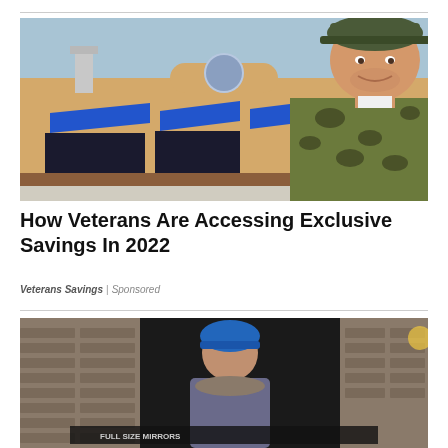[Figure (photo): Smiling man in military camouflage uniform and green cap standing in front of a commercial building with blue awnings]
How Veterans Are Accessing Exclusive Savings In 2022
Veterans Savings | Sponsored
[Figure (photo): Person wearing blue hat and winter coat, partially visible, with text overlay at the bottom]